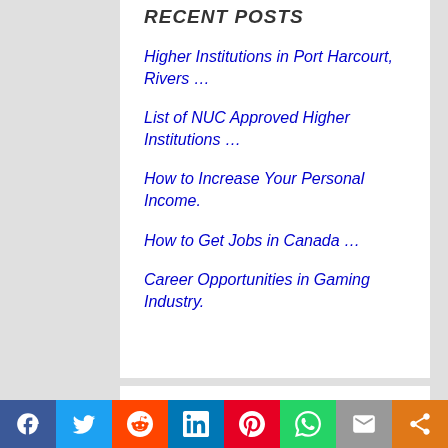RECENT POSTS
Higher Institutions in Port Harcourt, Rivers …
List of NUC Approved Higher Institutions …
How to Increase Your Personal Income.
How to Get Jobs in Canada …
Career Opportunities in Gaming Industry.
POPULAR POSTS